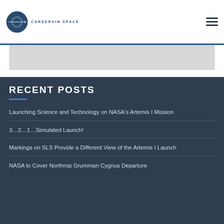CAREERS IN SPACE
[Figure (logo): Careers In Space logo: circular dark blue emblem with horizontal line/arrow, text CAREERSINSPACE below]
RECENT POSTS
Launching Science and Technology on NASA's Artemis I Mission
3...2...1...Simulated Launch!
Markings on SLS Provide a Different View of the Artemis I Launch
NASA to Cover Northrop Grumman Cygnus Departure